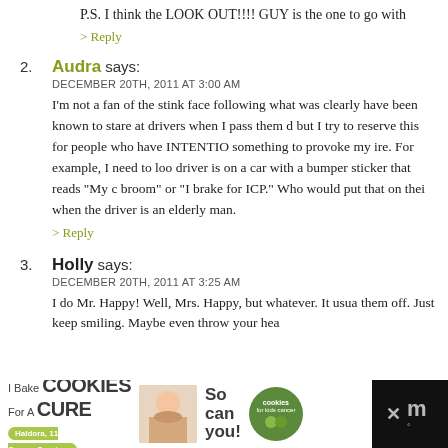P.S. I think the LOOK OUT!!!! GUY is the one to go with
> Reply
2. Audra says:
DECEMBER 20TH, 2011 AT 3:00 AM
I'm not a fan of the stink face following what was clearly have been known to stare at drivers when I pass them d but I try to reserve this for people who have INTENTIO something to provoke my ire. For example, I need to loo driver is on a car with a bumper sticker that reads "My c broom" or "I brake for ICP." Who would put that on thei when the driver is an elderly man.
> Reply
3. Holly says:
DECEMBER 20TH, 2011 AT 3:25 AM
I do Mr. Happy! Well, Mrs. Happy, but whatever. It usua them off. Just keep smiling. Maybe even throw your hea
[Figure (infographic): Advertisement banner: 'I Bake COOKIES For A CURE' with Haldora, 11 Cancer Survivor, and a 'So can you!' badge with cookies for kids cancer logo]